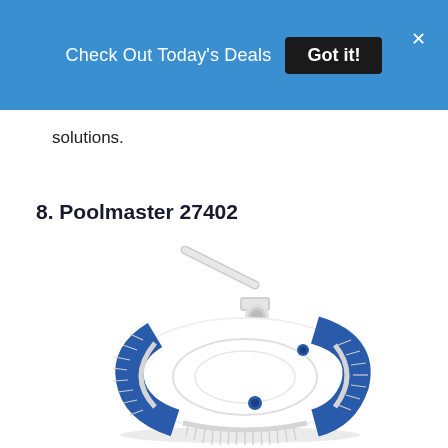Check Out Today's Deals  Got it!
solutions.
8. Poolmaster 27402
[Figure (photo): Poolmaster 27402 pool vacuum head with white and blue oval body, bristle brushes around the edges, suction ports, and an angled handle connector at top.]